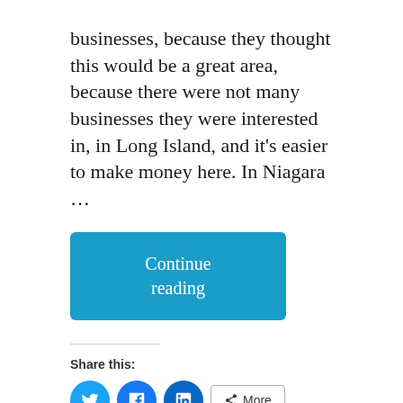businesses, because they thought this would be a great area, because there were not many businesses they were interested in, in Long Island, and it's easier to make money here. In Niagara …
Continue reading
Share this:
[Figure (infographic): Social share buttons: Twitter (blue circle with bird icon), Facebook (blue circle with f icon), LinkedIn (blue circle with in icon), and a More button with share icon]
[Figure (infographic): Like button with star icon, two blogger avatar thumbnails]
2 bloggers like this.